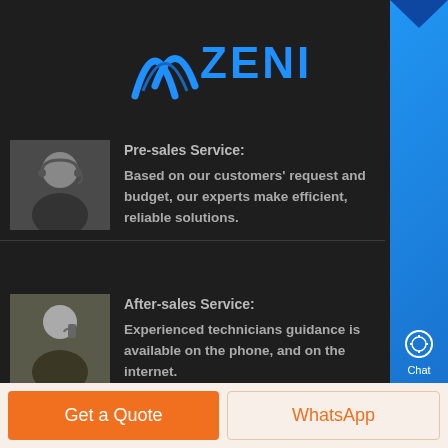[Figure (logo): ZENIT company logo with blue arch and text on dark background]
Pre-sales Service: Based on our customers' request and budget, our experts make efficient, reliable solutions.
After-sales Service: Experienced technicians guidance is available on the phone, and on the internet.
Product Categories
Crushing Equipment
Grinding Equipment